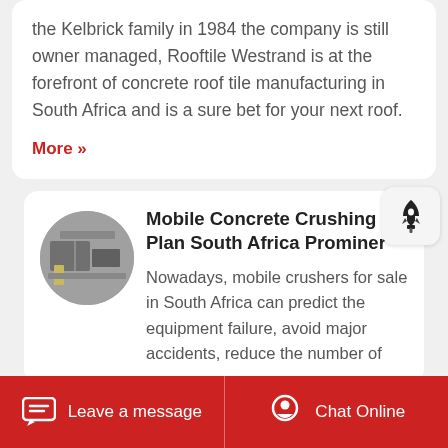the Kelbrick family in 1984 the company is still owner managed, Rooftile Westrand is at the forefront of concrete roof tile manufacturing in South Africa and is a sure bet for your next roof.
More »
Mobile Concrete Crushing Plant South Africa Prominer
Nowadays, mobile crushers for sale in South Africa can predict the equipment failure, avoid major accidents, reduce the number of
Leave a message   Chat Online